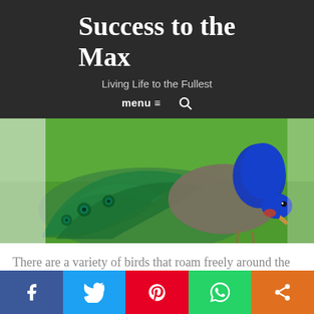Success to the Max
Living Life to the Fullest
menu ≡  🔍
[Figure (photo): A peacock bending its head down to peck at green grass, showing its elaborate tail feathers and blue neck.]
There are a variety of birds that roam freely around the grounds. It was obvious that they are used to people and they stood still long enough for us to take
Facebook | Twitter | Pinterest | WhatsApp | Share